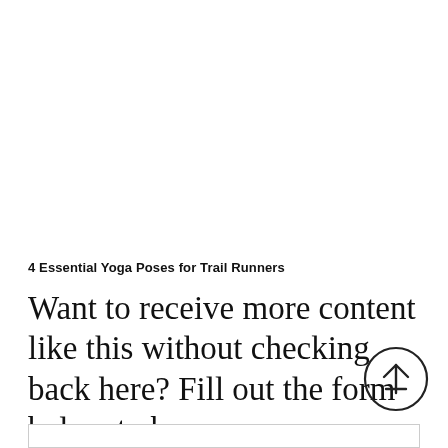4 Essential Yoga Poses for Trail Runners
Want to receive more content like this without checking back here? Fill out the form below to be sure you never miss out!
[Figure (other): Circular scroll-to-top button with an upward arrow icon]